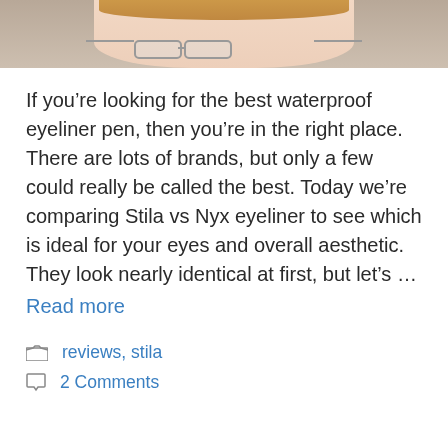[Figure (photo): Cropped photo of a woman with blonde hair and glasses, showing forehead and eye area]
If you’re looking for the best waterproof eyeliner pen, then you’re in the right place. There are lots of brands, but only a few could really be called the best. Today we’re comparing Stila vs Nyx eyeliner to see which is ideal for your eyes and overall aesthetic. They look nearly identical at first, but let’s … Read more
reviews, stila
2 Comments